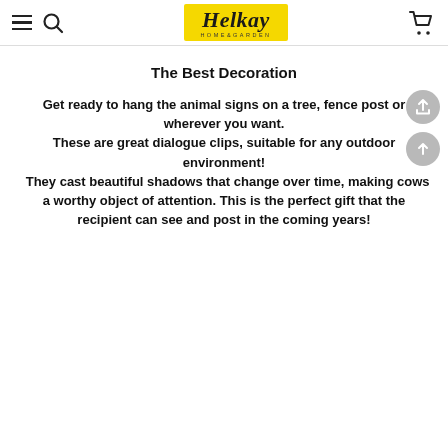Helkay HOME&GARDEN
The Best Decoration
Get ready to hang the animal signs on a tree, fence post or wherever you want. These are great dialogue clips, suitable for any outdoor environment! They cast beautiful shadows that change over time, making cows a worthy object of attention. This is the perfect gift that the recipient can see and post in the coming years!